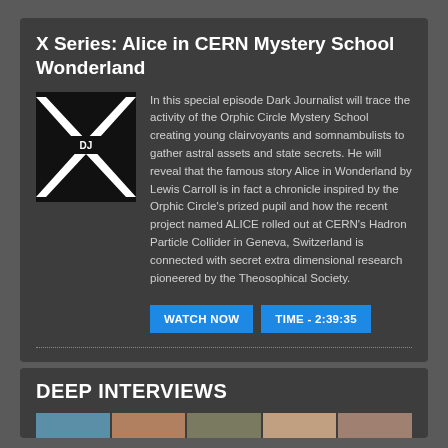X Series: Alice in CERN Mystery School Wonderland
[Figure (logo): Dark Journalist X logo — black and white X shape with 'DJ' text on dark background]
In this special episode Dark Journalist will trace the activity of the Orphic Circle Mystery School creating young clairvoyants and somnambulists to gather astral assets and state secrets. He will reveal that the famous story Alice in Wonderland by Lewis Carroll is in fact a chronicle inspired by the Orphic Circle's prized pupil and how the recent project named ALICE rolled out at CERN's Hadron Particle Collider in Geneva, Switzerland is connected with secret extra dimensional research pioneered by the Theosophical Society.
WATCH NOW | TIME - 2:39:35
DEEP INTERVIEWS
[Figure (photo): Row of partial portrait photos of interview subjects, partially cropped at bottom of page]